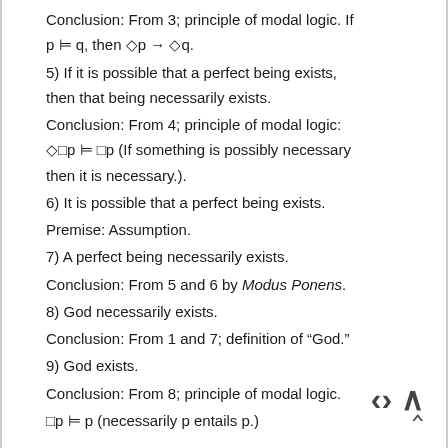Conclusion: From 3; principle of modal logic. If p ⊨ q, then ◇p → ◇q.
5) If it is possible that a perfect being exists, then that being necessarily exists.
Conclusion: From 4; principle of modal logic: ◇□p ⊨ □p (If something is possibly necessary then it is necessary.).
6) It is possible that a perfect being exists.
Premise: Assumption.
7) A perfect being necessarily exists.
Conclusion: From 5 and 6 by Modus Ponens.
8) God necessarily exists.
Conclusion: From 1 and 7; definition of “God.”
9) God exists.
Conclusion: From 8; principle of modal logic.
□p ⊨ p (necessarily p entails p.)